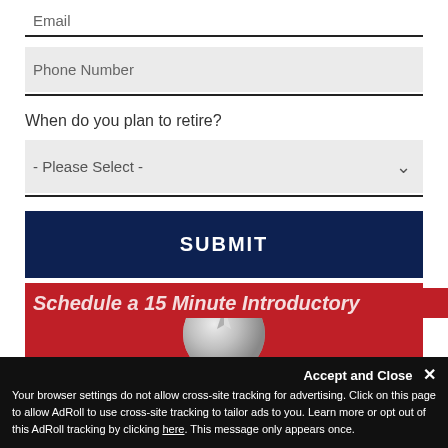Email
Phone Number
When do you plan to retire?
- Please Select -
SUBMIT
[Figure (screenshot): Red banner with circular metallic logo/emblem in center]
Accept and Close ✕
Your browser settings do not allow cross-site tracking for advertising. Click on this page to allow AdRoll to use cross-site tracking to tailor ads to you. Learn more or opt out of this AdRoll tracking by clicking here. This message only appears once.
Schedule a 15 Minute Introductory